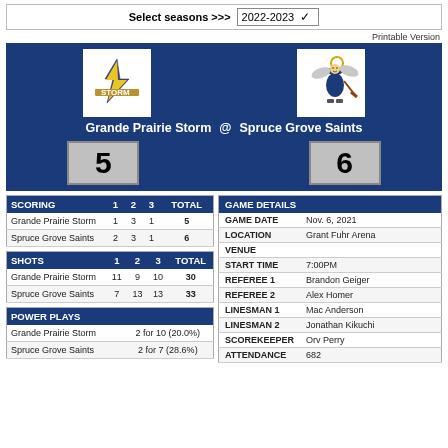Select seasons >>> 2022-2023
Printable Version
[Figure (logo): Grande Prairie Storm hockey team logo - white background with storm/lightning bolt graphic]
[Figure (logo): Spruce Grove Saints hockey team logo - white background with angel/saint mascot]
Grande Prairie Storm @ Spruce Grove Saints
5
6
| SCORING | 1 | 2 | 3 | TOTAL |
| --- | --- | --- | --- | --- |
| Grande Prairie Storm | 1 | 3 | 1 | 5 |
| Spruce Grove Saints | 2 | 3 | 1 | 6 |
| SHOTS | 1 | 2 | 3 | TOTAL |
| --- | --- | --- | --- | --- |
| Grande Prairie Storm | 11 | 9 | 10 | 30 |
| Spruce Grove Saints | 7 | 13 | 13 | 33 |
| POWER PLAYS |
| --- |
| Grande Prairie Storm | 2 for 10 (20.0%) |
| Spruce Grove Saints | 2 for 7 (28.6%) |
| GAME DETAILS |  |
| --- | --- |
| GAME DATE | Nov. 6, 2021 |
| LOCATION | Grant Fuhr Arena |
| VENUE |  |
| START TIME | 7:00PM |
| REFEREE 1 | Brandon Geiger |
| REFEREE 2 | Alex Homer |
| LINESMAN 1 | Mac Anderson |
| LINESMAN 2 | Jonathan Kikuchi |
| SCOREKEEPER | Orv Perry |
| ATTENDANCE | 682 |